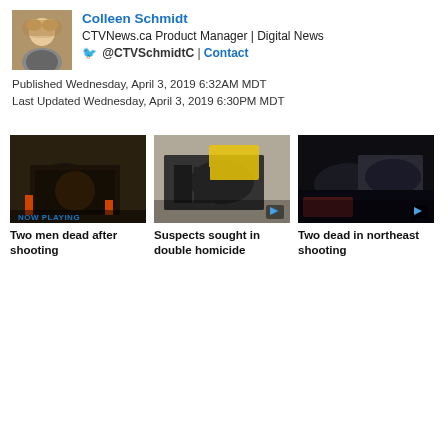[Figure (photo): Headshot of Colleen Schmidt, blonde woman]
Colleen Schmidt
CTVNews.ca Product Manager | Digital News
@CTVSchmidtC | Contact
Published Wednesday, April 3, 2019 6:32AM MDT
Last Updated Wednesday, April 3, 2019 6:30PM MDT
[Figure (photo): Dark SUV at night with orange traffic cones, NOW PLAYING badge]
[Figure (photo): Police officers beside dark SUV with yellow tarp, play button]
[Figure (photo): Dark SUV at night, play button]
Two men dead after shooting
Suspects sought in double homicide
Two dead in northeast shooting